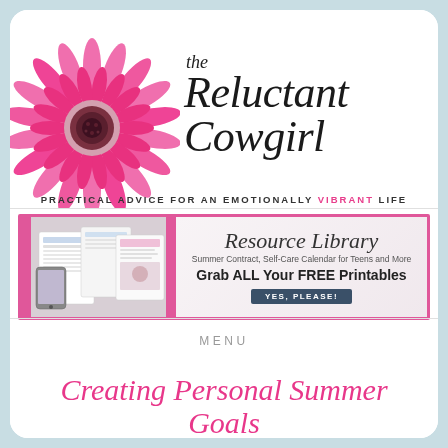[Figure (logo): The Reluctant Cowgirl blog logo: pink gerbera daisy flower on left, script text 'the Reluctant Cowgirl' on right]
PRACTICAL ADVICE FOR AN EMOTIONALLY VIBRANT LIFE
[Figure (infographic): Resource Library banner with printable documents images on left, text 'Resource Library - Summer Contract, Self-Care Calendar for Teens and More - Grab ALL Your FREE Printables' with YES, PLEASE! button on right]
MENU
Creating Personal Summer Goals